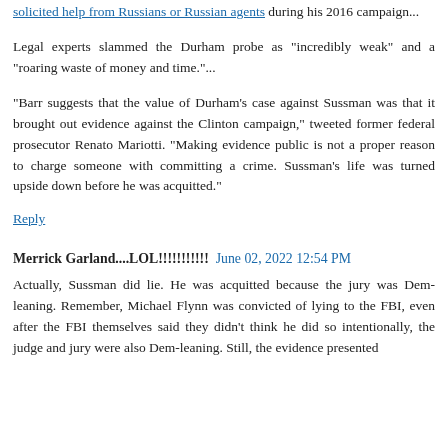solicited help from Russians or Russian agents during his 2016 campaign...
Legal experts slammed the Durham probe as "incredibly weak" and a "roaring waste of money and time."...
"Barr suggests that the value of Durham's case against Sussman was that it brought out evidence against the Clinton campaign," tweeted former federal prosecutor Renato Mariotti. "Making evidence public is not a proper reason to charge someone with committing a crime. Sussman's life was turned upside down before he was acquitted."
Reply
Merrick Garland....LOL!!!!!!!!!!!  June 02, 2022 12:54 PM
Actually, Sussman did lie. He was acquitted because the jury was Dem-leaning. Remember, Michael Flynn was convicted of lying to the FBI, even after the FBI themselves said they didn't think he did so intentionally, the judge and jury were also Dem-leaning. Still, the evidence presented